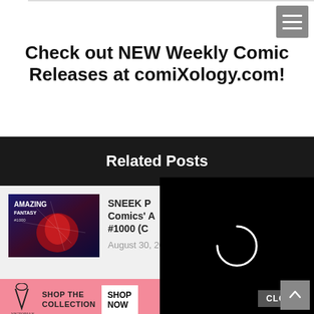Check out NEW Weekly Comic Releases at comiXology.com!
Related Posts
[Figure (screenshot): Comic book thumbnail: Amazing Fantasy #1000 cover art with Spider-Man]
SNEEK P… Comics' A… #1000 (C…
August 30, 2022
[Figure (screenshot): Video overlay with loading spinner and CLOSE button, with X dismiss button]
[Figure (screenshot): Victoria's Secret advertisement banner: SHOP THE COLLECTION, SHOP NOW button]
#5